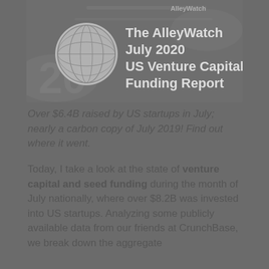[Figure (other): AlleyWatch branded header image showing US dollar bills background with a globe icon and white text reading 'The AlleyWatch July 2020 US Venture Capital Funding Report']
Over $6.4B raised by US startups in July; nearly a carbon copy of July 2019! Find out where it went.
Today, I take a look at the state of venture capital and seed funding during the month of July nationally, where over $8.2B was invested into US startups. Analyzing some publicly available data from our friends at CrunchBase, we break down the aggregate